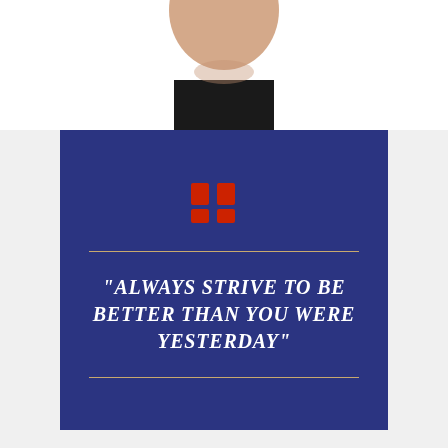[Figure (photo): Partial face/neck of a person wearing a black collar shirt, cropped at top, showing chin and neck area against white background]
“ALWAYS STRIVE TO BE BETTER THAN YOU WERE YESTERDAY”